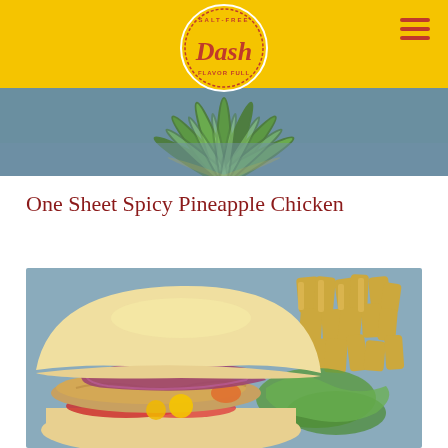Dash Salt-Free Flavor Full
[Figure (photo): Tropical palm leaf background hero strip image]
One Sheet Spicy Pineapple Chicken
[Figure (photo): Close-up photo of a chicken sandwich with red onion, lettuce, tomato, pineapple, and peppers on a bun, served with crinkle-cut fries on a blue plate]